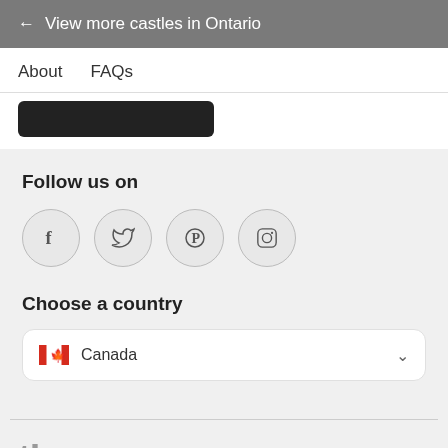← View more castles in Ontario
About
FAQs
Follow us on
[Figure (illustration): Four social media icon circles: Facebook, Twitter, Pinterest, Instagram]
Choose a country
Canada (dropdown selector with Canadian flag)
[Figure (logo): The Knot Worldwide (tkww) logo with heart symbol]
© 2022 WeddingWire